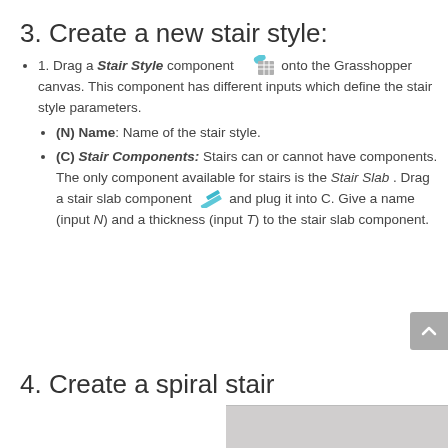3. Create a new stair style:
1. Drag a Stair Style component [icon] onto the Grasshopper canvas. This component has different inputs which define the stair style parameters.
(N) Name: Name of the stair style.
(C) Stair Components: Stairs can or cannot have components. The only component available for stairs is the Stair Slab . Drag a stair slab component [icon] and plug it into C. Give a name (input N) and a thickness (input T) to the stair slab component.
4. Create a spiral stair